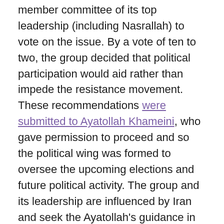member committee of its top leadership (including Nasrallah) to vote on the issue. By a vote of ten to two, the group decided that political participation would aid rather than impede the resistance movement. These recommendations were submitted to Ayatollah Khameini, who gave permission to proceed and so the political wing was formed to oversee the upcoming elections and future political activity. The group and its leadership are influenced by Iran and seek the Ayatollah's guidance in certain matters.
The group's popularity in Lebanon began with its armed resistance against Israel. Since then, they have created a social welfare network all around Lebanon that helped them augment and maintain their popularity and legitimacy. Hezbollah has three associations under its welfare umbrella. The first is the Jihad al Binaa that deals with constructing houses destroyed in war, digging wells,